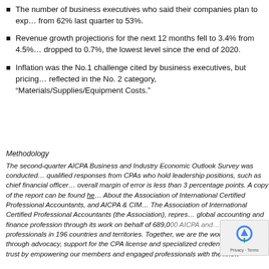The number of business executives who said their companies plan to expand fell from 62% last quarter to 53%.
Revenue growth projections for the next 12 months fell to 3.4% from 4.5%; and dropped to 0.7%, the lowest level since the end of 2020.
Inflation was the No.1 challenge cited by business executives, but pricing was reflected in the No. 2 category, “Materials/Supplies/Equipment Costs.”
Methodology
The second-quarter AICPA Business and Industry Economic Outlook Survey was conducted qualified responses from CPAs who hold leadership positions, such as chief financial officer overall margin of error is less than 3 percentage points. A copy of the report can be found he About the Association of International Certified Professional Accountants, and AICPA & CIM The Association of International Certified Professional Accountants (the Association), repres global accounting and finance profession through its work on behalf of 689,000 AICPA and professionals in 196 countries and territories. Together, we are the worldwide through advocacy, support for the CPA license and specialized credentials, p trust by empowering our members and engaged professionals with the know